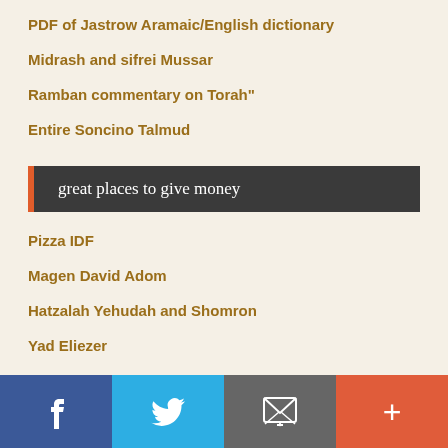PDF of Jastrow Aramaic/English dictionary
Midrash and sifrei Mussar
Ramban commentary on Torah"
Entire Soncino Talmud
great places to give money
Pizza IDF
Magen David Adom
Hatzalah Yehudah and Shomron
Yad Eliezer
Zaka
f  [twitter]  [envelope]  +